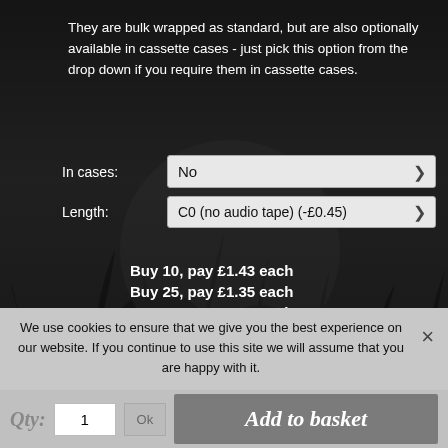They are bulk wrapped as standard, but are also optionally available in cassette cases - just pick this option from the drop down if you require them in cassette cases.
[Figure (screenshot): Form with two dropdown selects: 'In cases: No' and 'Length: C0 (no audio tape) (-£0.45)']
Buy 10, pay £1.43 each
Buy 25, pay £1.35 each
Buy 50, pay £1.27 each
Buy 100, pay £1.19 each
Buy 200, pay £1.11 each
£1.59 +VAT (Code: CST-NEON-PINK)
We use cookies to ensure that we give you the best experience on our website. If you continue to use this site we will assume that you are happy with it.
Qty: 1   Ok   Ready   Add to basket